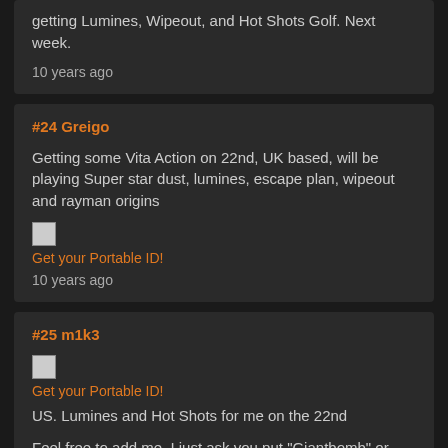getting Lumines, Wipeout, and Hot Shots Golf. Next week.
10 years ago
#24 Greigo
Getting some Vita Action on 22nd, UK based, will be playing Super star dust, lumines, escape plan, wipeout and rayman origins
[Figure (other): Small broken image thumbnail]
Get your Portable ID!
10 years ago
#25 m1k3
[Figure (other): Small broken image thumbnail]
Get your Portable ID!
US. Lumines and Hot Shots for me on the 22nd
Feel free to add me. I just ask you put "Giantbomb" or